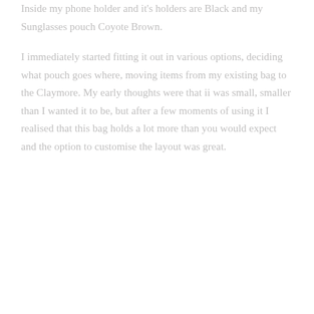Inside my phone holder and it's holders are Black and my Sunglasses pouch Coyote Brown.
I immediately started fitting it out in various options, deciding what pouch goes where, moving items from my existing bag to the Claymore. My early thoughts were that ii was small, smaller than I wanted it to be, but after a few moments of using it I realised that this bag holds a lot more than you would expect and the option to customise the layout was great.